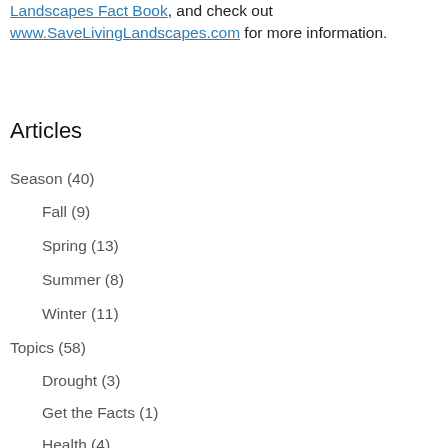Landscapes Fact Book, and check out www.SaveLivingLandscapes.com for more information.
Articles
Season (40)
Fall (9)
Spring (13)
Summer (8)
Winter (11)
Topics (58)
Drought (3)
Get the Facts (1)
Health (4)
Landscaping (15)